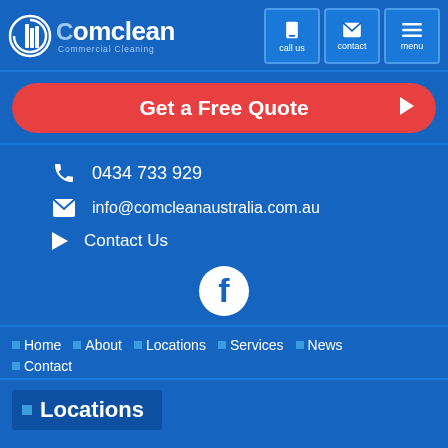[Figure (logo): Comclean Commercial Cleaning logo with circular C icon and text]
call us  contact  menu
Get a Free Quote
0434 733 929
info@comcleanaustralia.com.au
Contact Us
[Figure (logo): Facebook logo icon (white F on white circle)]
Home
About
Locations
Services
News
Contact
Locations